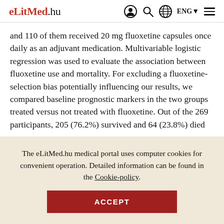eLitMed.hu — navigation header with logo, search, globe, ENG, hamburger menu
and 110 of them received 20 mg fluoxetine capsules once daily as an adjuvant medication. Multivariable logistic regression was used to evaluate the association between fluoxetine use and mortality. For excluding a fluoxetine-selection bias potentially influencing our results, we compared baseline prognostic markers in the two groups treated versus not treated with fluoxetine. Out of the 269 participants, 205 (76.2%) survived and 64 (23.8%) died
The eLitMed.hu medical portal uses computer cookies for convenient operation. Detailed information can be found in the Cookie-policy.
ACCEPT